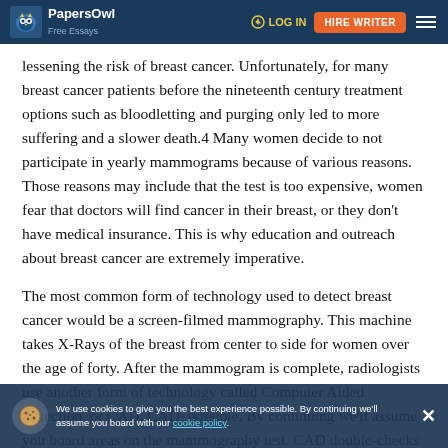PapersOwl Free Essays | LOG IN | HIRE WRITER
lessening the risk of breast cancer. Unfortunately, for many breast cancer patients before the nineteenth century treatment options such as bloodletting and purging only led to more suffering and a slower death.4 Many women decide to not participate in yearly mammograms because of various reasons. Those reasons may include that the test is too expensive, women fear that doctors will find cancer in their breast, or they don't have medical insurance. This is why education and outreach about breast cancer are extremely imperative.
The most common form of technology used to detect breast cancer would be a screen-filmed mammography. This machine takes X-Rays of the breast from center to side for women over the age of forty. After the mammogram is complete, radiologists use another form of technology called Computer Aided Detection, or CAD. CAD [...] possible. By continuing we'll assume you board areas on the mammography test. CAD double-checks the work